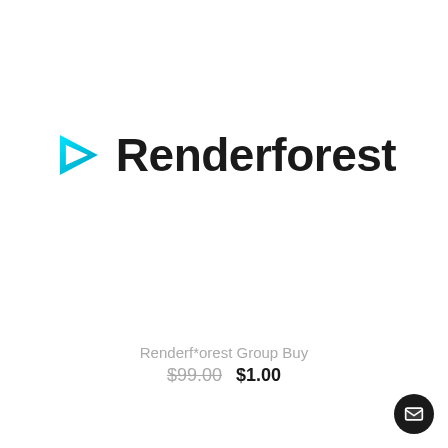[Figure (logo): Renderforest logo: a cyan/teal play-button triangle icon on the left, followed by the bold text 'Renderforest' in dark/black sans-serif font]
Renderf*orest Group Buy
$99.00  $1.00